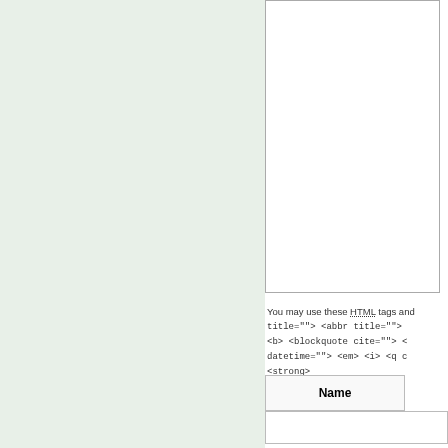[Figure (screenshot): Left green-tinted sidebar panel]
You may use these HTML tags and attributes: title=""> <abbr title=""> <b> <blockquote cite=""> < datetime=""> <em> <i> <q c <strong>
| Name |  |
| --- | --- |
|  |  |
| E-mail |  |
| --- | --- |
|  |  |
| URI |  |
| --- | --- |